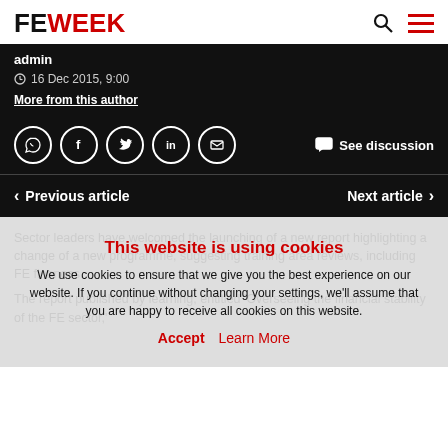FE WEEK
admin
16 Dec 2015, 9:00
More from this author
See discussion
Previous article
Next article
Sector leaders have welcomed the launching of a new report highlighting a change of a new programme, suggesting training area reviews, including FE finances.
The report published by learning, entitled 'Overseeing the financial stability of the FE sector,'
This website is using cookies
We use cookies to ensure that we give you the best experience on our website. If you continue without changing your settings, we'll assume that you are happy to receive all cookies on this website.
Accept   Learn More